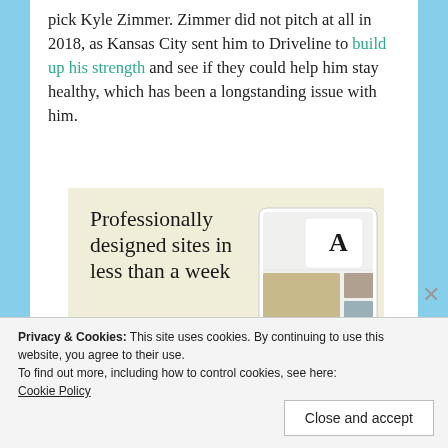pick Kyle Zimmer. Zimmer did not pitch at all in 2018, as Kansas City sent him to Driveline to build up his strength and see if they could help him stay healthy, which has been a longstanding issue with him.
[Figure (infographic): WordPress.com advertisement: 'Professionally designed sites in less than a week' with an Explore options button and mockup images of website designs.]
Privacy & Cookies: This site uses cookies. By continuing to use this website, you agree to their use. To find out more, including how to control cookies, see here: Cookie Policy
Close and accept